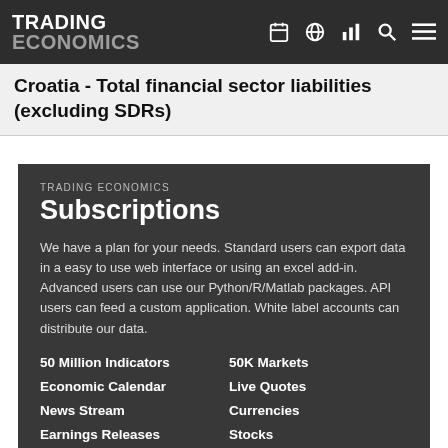TRADING ECONOMICS
Croatia - Total financial sector liabilities (excluding SDRs)
TRADING ECONOMICS Subscriptions
We have a plan for your needs. Standard users can export data in a easy to use web interface or using an excel add-in. Advanced users can use our Python/R/Matlab packages. API users can feed a custom application. White label accounts can distribute our data.
50 Million Indicators
50K Markets
Economic Calendar
Live Quotes
News Stream
Currencies
Earnings Releases
Stocks